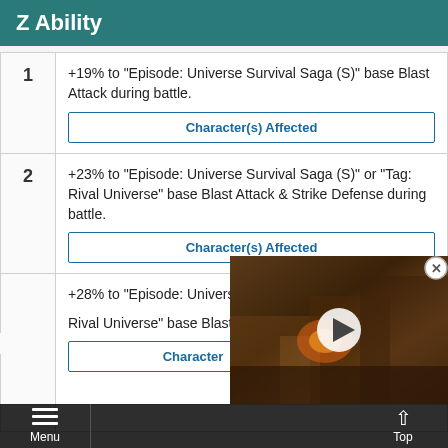Z Ability
+19% to "Episode: Universe Survival Saga (S)" base Blast Attack during battle.
Character(s) Affected
+23% to "Episode: Universe Survival Saga (S)" or "Tag: Rival Universe" base Blast Attack & Strike Defense during battle.
Character(s) Affected
+28% to "Episode: Universe Survival Saga (S)" or "Tag: Rival Universe" base Blast A...
Character(s) Affected
[Figure (screenshot): Video player overlay showing a game scene with a play button, partially covering the table rows below]
Menu | Top